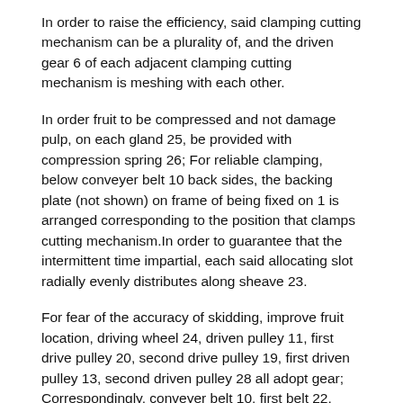In order to raise the efficiency, said clamping cutting mechanism can be a plurality of, and the driven gear 6 of each adjacent clamping cutting mechanism is meshing with each other.
In order fruit to be compressed and not damage pulp, on each gland 25, be provided with compression spring 26; For reliable clamping, below conveyer belt 10 back sides, the backing plate (not shown) on frame of being fixed on 1 is arranged corresponding to the position that clamps cutting mechanism.In order to guarantee that the intermittent time impartial, each said allocating slot radially evenly distributes along sheave 23.
For fear of the accuracy of skidding, improve fruit location, driving wheel 24, driven pulley 11, first drive pulley 20, second drive pulley 19, first driven pulley 13, second driven pulley 28 all adopt gear; Correspondingly, conveyer belt 10, first belt 22, second belt 27 all adopt the synchronous belt that has tooth.
During work, the roxburgh rose flower base of a fruit is placed in up in the back taper pit of locating piece 31; Turn around when dial 18 revolves, sheave 23 just drives driving